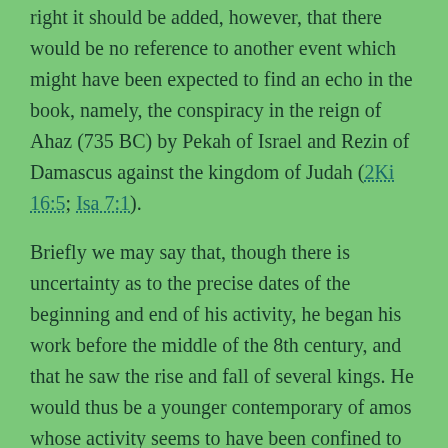right it should be added, however, that there would be no reference to another event which might have been expected to find an echo in the book, namely, the conspiracy in the reign of Ahaz (735 BC) by Pekah of Israel and Rezin of Damascus against the kingdom of Judah (2Ki 16:5; Isa 7:1).
Briefly we may say that, though there is uncertainty as to the precise dates of the beginning and end of his activity, he began his work before the middle of the 8th century, and that he saw the rise and fall of several kings. He would thus be a younger contemporary of amos whose activity seems to have been confined to the reign of Jeroboam.
4. Personal History (Marriage):
Hosea is described as the son of Beeri, who is